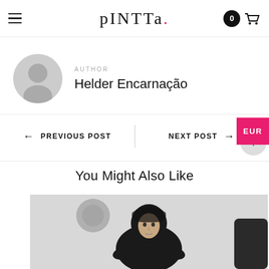PINTTA. — navigation bar with hamburger menu, logo, and cart (0)
AUTHOR
Helder Encarnação
EUR
← PREVIOUS POST | NEXT POST →
You Might Also Like
[Figure (photo): Photo of a young man in a black hoodie with arms crossed, in a light grey studio setting]